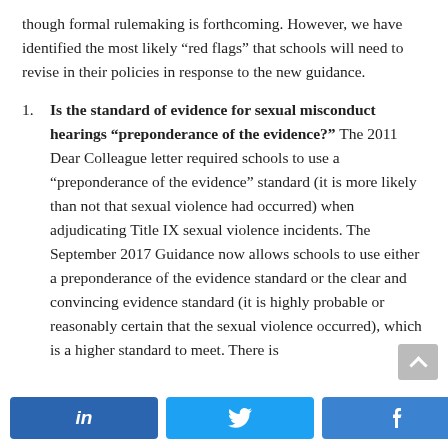though formal rulemaking is forthcoming. However, we have identified the most likely “red flags” that schools will need to revise in their policies in response to the new guidance.
Is the standard of evidence for sexual misconduct hearings “preponderance of the evidence?” The 2011 Dear Colleague letter required schools to use a “preponderance of the evidence” standard (it is more likely than not that sexual violence had occurred) when adjudicating Title IX sexual violence incidents. The September 2017 Guidance now allows schools to use either a preponderance of the evidence standard or the clear and convincing evidence standard (it is highly probable or reasonably certain that the sexual violence occurred), which is a higher standard to meet. There is